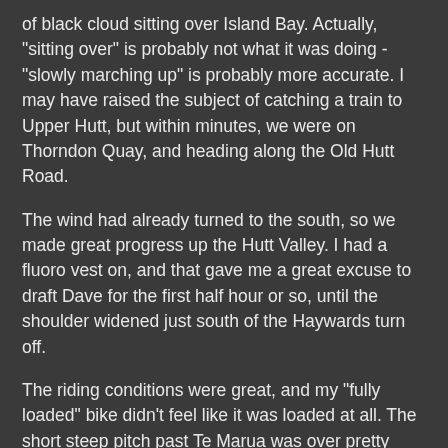of black cloud sitting over Island Bay.  Actually, "sitting over" is probably not what it was doing - "slowly marching up" is probably more accurate.  I may have raised the subject of catching a train to Upper Hutt, but within minutes, we were on Thorndon Quay, and heading along the Old Hutt Road.
The wind had already turned to the south, so we made great progress up the Hutt Valley.  I had a fluoro vest on, and that gave me a great excuse to draft Dave for the first half hour or so, until the shoulder widened just south of the Haywards turn off.
The riding conditions were great, and my "fully loaded" bike didn't feel like it was loaded at all.  The short steep pitch past Te Marua was over pretty quickly, and it wasn't until a few minutes into the climb from Kaitoke, that we felt the first raindrops.  About 10 seconds after agreeing that a coat stop was imminent, we were stopping to put our coats on.  I'd also packed my Ground Effect overtrou, and put those on for good measure.  The rain had a touch of sleet in it, and the temperature had fallen a few degrees.